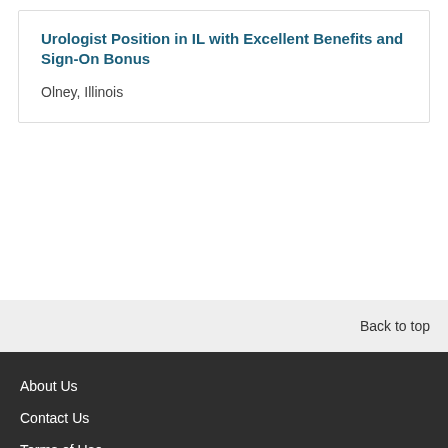Urologist Position in IL with Excellent Benefits and Sign-On Bonus
Olney, Illinois
Back to top
About Us
Contact Us
Terms of Use
Privacy Policy